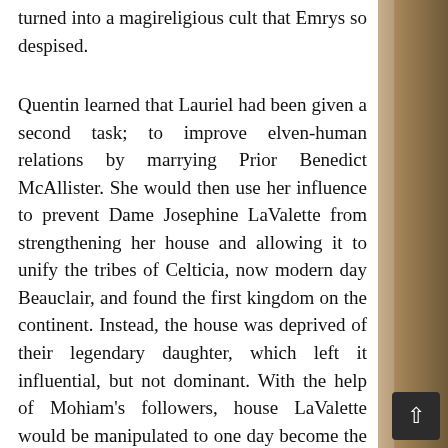turned into a magireligious cult that Emrys so despised.
Quentin learned that Lauriel had been given a second task; to improve elven-human relations by marrying Prior Benedict McAllister. She would then use her influence to prevent Dame Josephine LaValette from strengthening her house and allowing it to unify the tribes of Celticia, now modern day Beauclair, and found the first kingdom on the continent. Instead, the house was deprived of their legendary daughter, which left it influential, but not dominant. With the help of Mohiam's followers, house LaValette would be manipulated to one day become the royal house of another